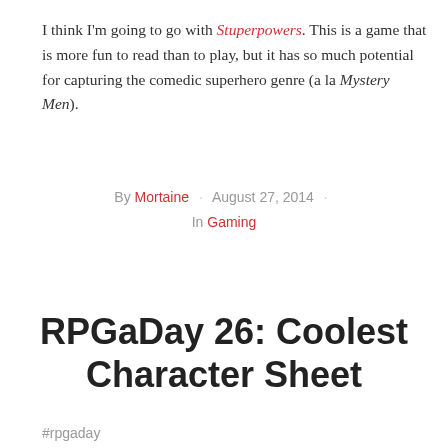I think I'm going to go with Stuperpowers. This is a game that is more fun to read than to play, but it has so much potential for capturing the comedic superhero genre (a la Mystery Men).
By Mortaine · August 27, 2014 · In Gaming
RPGaDay 26: Coolest Character Sheet
#rpgaday